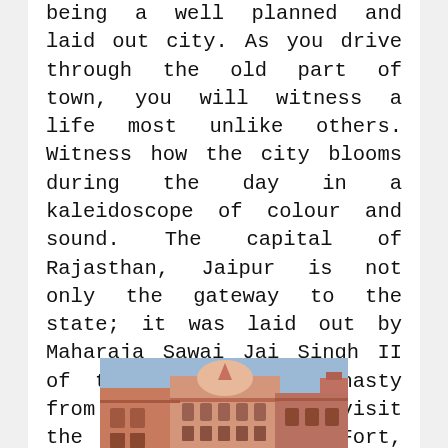being a well planned and laid out city. As you drive through the old part of town, you will witness a life most unlike others. Witness how the city blooms during the day in a kaleidoscope of colour and sound. The capital of Rajasthan, Jaipur is not only the gateway to the state; it was laid out by Maharaja Sawai Jai Singh II of the Kachchawaha dynasty from Amber. In Jaipur, visit the magnificent Amber Fort, City Palace, Museum, The Observatory etc. Enjoy the elephant ride at Amber Fort.
[Figure (photo): Photograph of a Rajasthani palace or fort building with ornate architecture, pink/terracotta colored walls, domes and turrets, blue sky in background.]